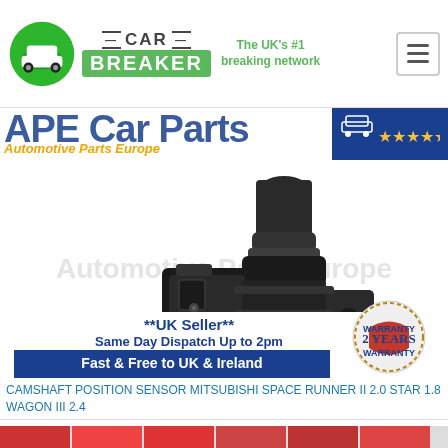Car Breaker — The UK's #1 breaking network
[Figure (logo): APE Car Parts — Automotive Parts Europe logo banner with blue text and orange stars]
[Figure (photo): Black camshaft position sensor with electrical connector, shown against white background with 'Automotive Parts Europe' watermark. Overlay text: **UK Seller** Same Day Dispatch Up to 2pm. Fast & Free to UK & Ireland. 2 Years Warranty badge.]
CAMSHAFT POSITION SENSOR MITSUBISHI SPACE RUNNER II 2.0 STAR 1.8 WAGON III 2.4
[Figure (photo): Bottom strip showing partial product images]